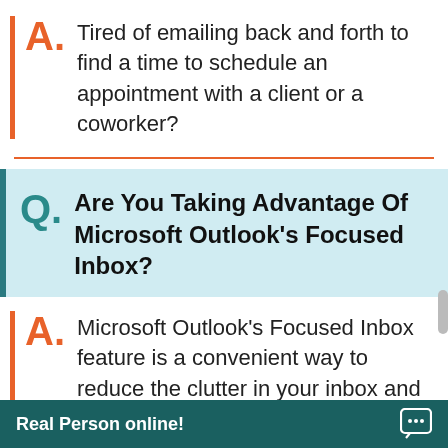Tired of emailing back and forth to find a time to schedule an appointment with a client or a coworker?
Are You Taking Advantage Of Microsoft Outlook's Focused Inbox?
Microsoft Outlook's Focused Inbox feature is a convenient way to reduce the clutter in your inbox and see what really needs your attention. We'll show you in this quick...